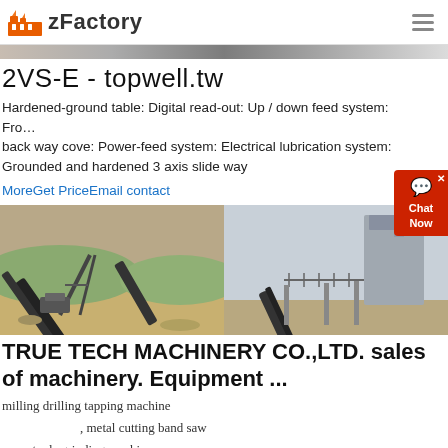zFactory
2VS-E - topwell.tw
Hardened-ground table: Digital read-out: Up / down feed system: Front & back way cove: Power-feed system: Electrical lubrication system: Grounded and hardened 3 axis slide way
MoreGet PriceEmail contact
[Figure (photo): Two photos side by side showing industrial conveyor belt machinery at a quarry/mining site and an industrial plant with conveyor systems]
TRUE TECH MACHINERY CO.,LTD. sales of machinery. Equipment ...
milling drilling tapping machine
, metal cutting band saw
, tools grinding machine